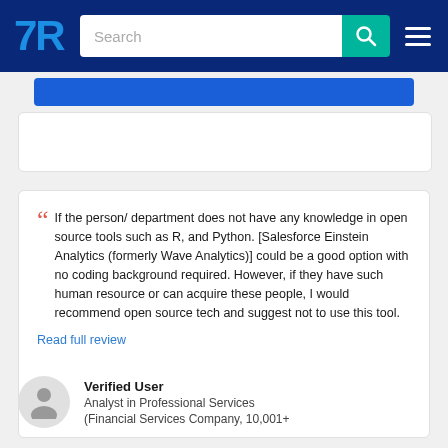[Figure (screenshot): TrustRadius website navigation bar with logo, search bar, and hamburger menu on dark blue background]
If the person/ department does not have any knowledge in open source tools such as R, and Python. [Salesforce Einstein Analytics (formerly Wave Analytics)] could be a good option with no coding background required. However, if they have such human resource or can acquire these people, I would recommend open source tech and suggest not to use this tool.
Read full review
Verified User
Analyst in Professional Services
(Financial Services Company, 10,001+